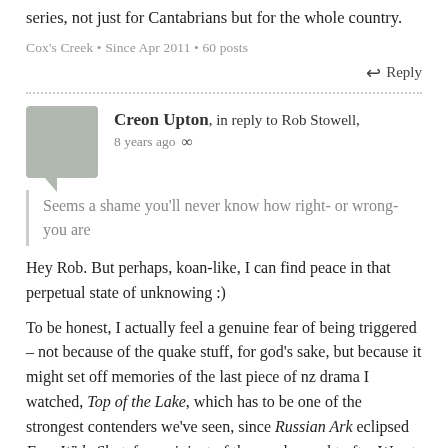series, not just for Cantabrians but for the whole country.
Cox's Creek • Since Apr 2011 • 60 posts
↩ Reply
Creon Upton, in reply to Rob Stowell, 8 years ago ∞
Seems a shame you'll never know how right- or wrong- you are
Hey Rob. But perhaps, koan-like, I can find peace in that perpetual state of unknowing :)
To be honest, I actually feel a genuine fear of being triggered – not because of the quake stuff, for god's sake, but because it might set off memories of the last piece of nz drama I watched, Top of the Lake, which has to be one of the strongest contenders we've seen, since Russian Ark eclipsed Eyes Wide Shut, for recipient of the much-sought-after Worst Piece of Over-rated Shit in History award.
Christchurch • Since Aug 2007 • 69 posts